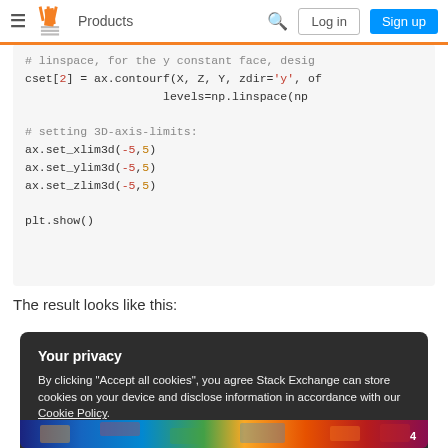≡  [logo]  Products  🔍  Log in  Sign up
[Figure (screenshot): Code block showing Python matplotlib 3D contour plot code: cset[2] = ax.contourf(X, Z, Y, zdir='y', of... levels=np.linspace(np... # setting 3D-axis-limits: ax.set_xlim3d(-5,5) ax.set_ylim3d(-5,5) ax.set_zlim3d(-5,5) plt.show()]
The result looks like this:
[Figure (screenshot): Privacy cookie consent overlay: 'Your privacy' heading, text about accepting cookies for Stack Exchange, with 'Accept all cookies' and 'Customize settings' buttons]
[Figure (photo): Bottom strip showing colorful heatmap/contour plot image]